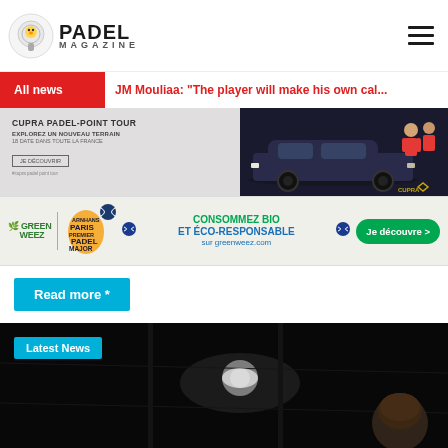PADEL MAGAZINE
All news | JM Mouliaa: "The player will make his own cal..."
[Figure (photo): Cupra Padel-Point Tour advertisement banner with car and people]
[Figure (photo): GreenWeez Paris Premier Padel Major advertisement - Consommez Bio et Éco-responsable sur greenweez.com]
Read more *
[Figure (photo): Dark padel court photo with Latest News label overlay, person visible on right]
Latest News